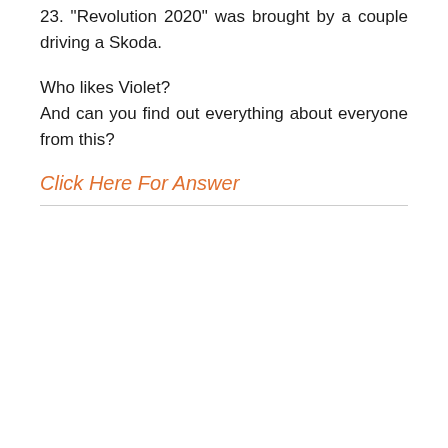23. "Revolution 2020" was brought by a couple driving a Skoda.
Who likes Violet?
And can you find out everything about everyone from this?
Click Here For Answer